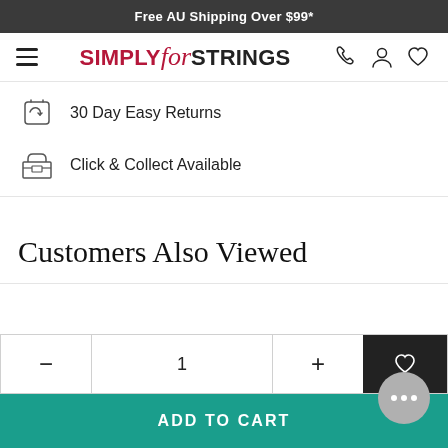Free AU Shipping Over $99*
[Figure (logo): Simply for Strings logo with hamburger menu and navigation icons for phone, user, and heart]
30 Day Easy Returns
Click & Collect Available
Customers Also Viewed
- 1 + [wishlist button]
ADD TO CART